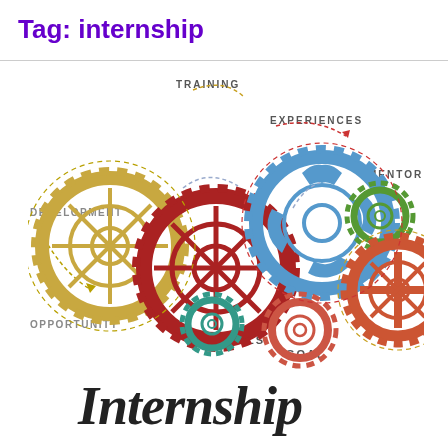Tag: internship
[Figure (illustration): Colorful interconnected gears infographic with labels: TRAINING, EXPERIENCES, MENTOR, DEVELOPMENT, OPPORTUNITY, SKILLS, GOAL, and a large 'Internship' handwritten-style text at the bottom. Gears are colored tan/gold, teal, red/dark red, blue, green, and orange-red.]